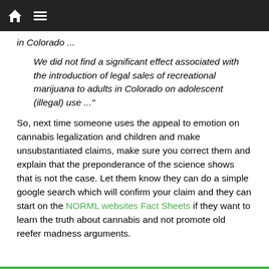Navigation bar with home and menu icons
in Colorado ...
We did not find a significant effect associated with the introduction of legal sales of recreational marijuana to adults in Colorado on adolescent (illegal) use ..."
So, next time someone uses the appeal to emotion on cannabis legalization and children and make unsubstantiated claims, make sure you correct them and explain that the preponderance of the science shows that is not the case. Let them know they can do a simple google search which will confirm your claim and they can start on the NORML websites Fact Sheets if they want to learn the truth about cannabis and not promote old reefer madness arguments.